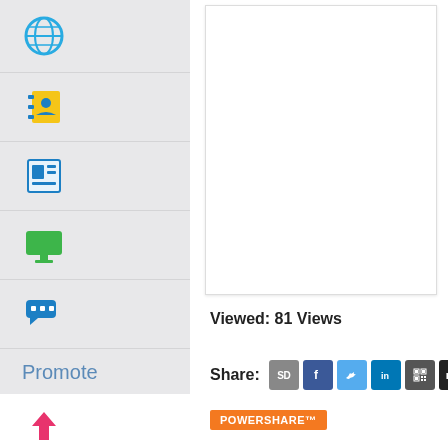[Figure (screenshot): Sidebar navigation icons: globe (blue), contacts book (blue/yellow), document/news (blue), monitor (green), chat bubbles (blue)]
Promote
[Figure (screenshot): Promote section icons: upload arrow (pink on white), video camera (green), RSS feed (pink), camera (partial)]
[Figure (screenshot): Document preview box (white rectangle with border)]
Viewed: 81 Views
Share:
[Figure (screenshot): Share buttons: SD, Facebook, Twitter, LinkedIn, QR code, My]
POWERSHARE™